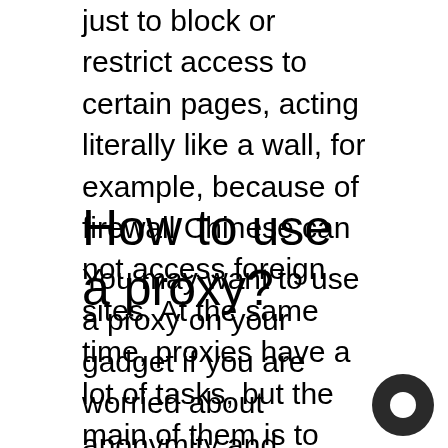just to block or restrict access to certain pages, acting literally like a wall, for example, because of firewall Chinese can not access foreign sites. At the same time, proxies have a lot of tasks, but the main of them is to mediate connections between a computer and a web, acting as a middle man. fmovies taxi proxy
How to use a proxy?
You may want to use a proxy on your gadget if you are worried about anonymity and security on the network or if you want to access blocked content (for instance, YouTube videos). To do this, you must first find trusted proxies. You can use free ones or contact the seller. It will not be superfluous to test them before using them; for this, there are special free tools. Then you need to modify the network settings in your browser. To do this, you need to find the network settings section in your browser (Chrome, Firefox, Safari, or other) and insert the proxy address in the appropriate line. After saving all the changes